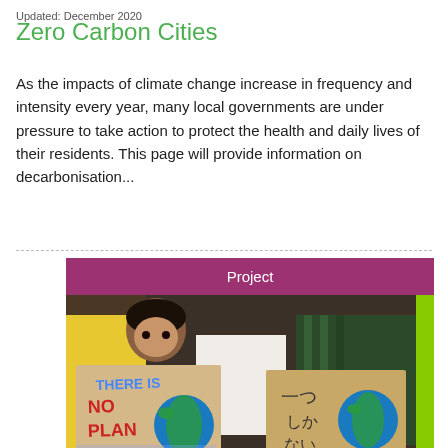Updated: December 2020
Zero Carbon Cities
As the impacts of climate change increase in frequency and intensity every year, many local governments are under pressure to take action to protect the health and daily lives of their residents. This page will provide information on decarbonisation...
Project
[Figure (photo): Children and adults holding climate protest signs including 'THERE IS NO PLAN B' with illustrated earth globes, and a cardboard sign with Japanese text and a globe illustration.]